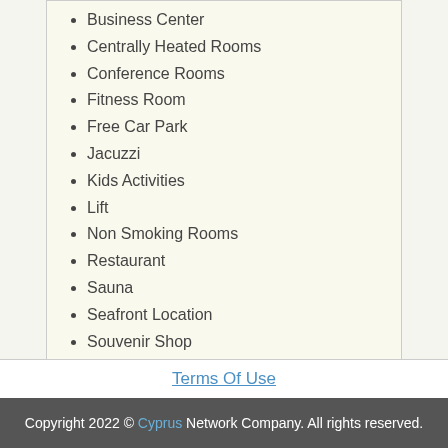Business Center
Centrally Heated Rooms
Conference Rooms
Fitness Room
Free Car Park
Jacuzzi
Kids Activities
Lift
Non Smoking Rooms
Restaurant
Sauna
Seafront Location
Souvenir Shop
Tennis
TV In Rooms - Satellite
Watersports near facility
Terms Of Use
Copyright 2022 © Cyprus Network Company. All rights reserved.